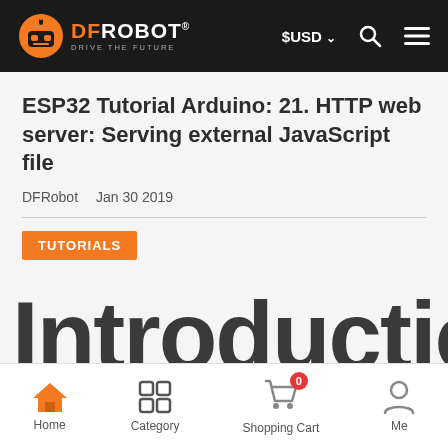DFRobot DRIVE THE FUTURE | $USD | Search | Menu
ESP32 Tutorial Arduino: 21. HTTP web server: Serving external JavaScript file
DFRobot  Jan 30 2019
TUTORIALS
Introductio
Home  Category  Shopping Cart  Me